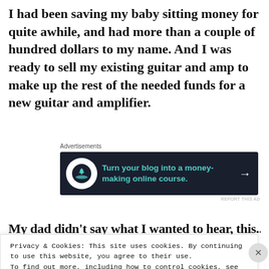I had been saving my baby sitting money for quite awhile, and had more than a couple of hundred dollars to my name.  And I was ready to sell my existing guitar and amp to make up the rest of the needed funds for a new guitar and amplifier.
Advertisements
[Figure (screenshot): Dark advertisement banner: 'Turn your blog into a money-making online course.' with a tree/bonsai icon and right arrow.]
REPORT THIS AD
My dad didn't say what I wanted to hear, this...
Privacy & Cookies: This site uses cookies. By continuing to use this website, you agree to their use.
To find out more, including how to control cookies, see here: Cookie Policy
Close and accept